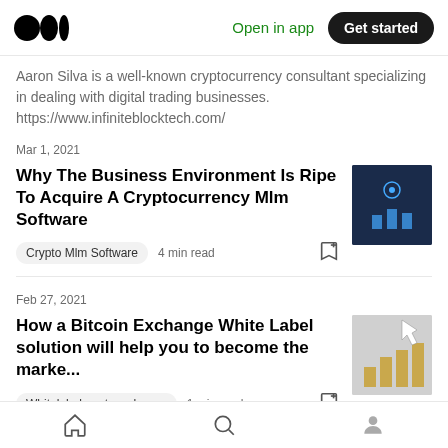Medium logo | Open in app | Get started
Aaron Silva is a well-known cryptocurrency consultant specializing in dealing with digital trading businesses. https://www.infiniteblocktech.com/
Mar 1, 2021
Why The Business Environment Is Ripe To Acquire A Cryptocurrency Mlm Software
Crypto Mlm Software · 4 min read
Feb 27, 2021
How a Bitcoin Exchange White Label solution will help you to become the marke...
Whitelabelcryptoexchange · 1 min read